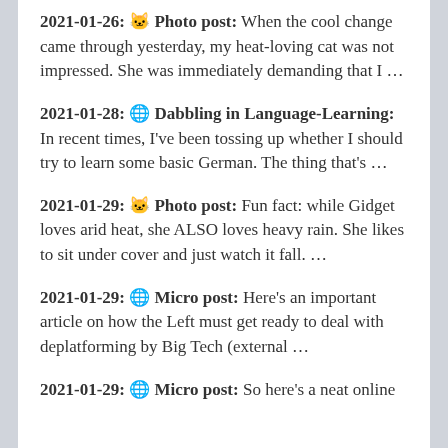2021-01-26: 🐱 Photo post: When the cool change came through yesterday, my heat-loving cat was not impressed. She was immediately demanding that I …
2021-01-28: 🌐 Dabbling in Language-Learning: In recent times, I've been tossing up whether I should try to learn some basic German. The thing that's …
2021-01-29: 🐱 Photo post: Fun fact: while Gidget loves arid heat, she ALSO loves heavy rain. She likes to sit under cover and just watch it fall. …
2021-01-29: 🌐 Micro post: Here's an important article on how the Left must get ready to deal with deplatforming by Big Tech (external …
2021-01-29: 🌐 Micro post: So here's a neat online …